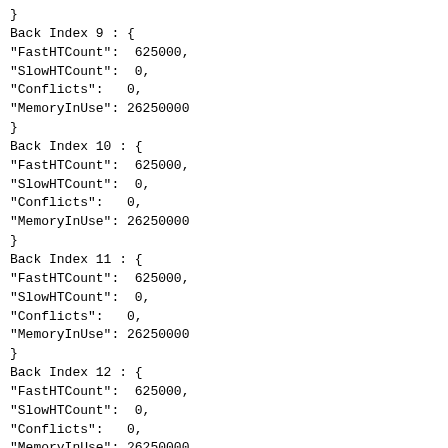}
Back Index 9 : {
"FastHTCount":  625000,
"SlowHTCount":  0,
"Conflicts":   0,
"MemoryInUse": 26250000
}
Back Index 10 : {
"FastHTCount":  625000,
"SlowHTCount":  0,
"Conflicts":   0,
"MemoryInUse": 26250000
}
Back Index 11 : {
"FastHTCount":  625000,
"SlowHTCount":  0,
"Conflicts":   0,
"MemoryInUse": 26250000
}
Back Index 12 : {
"FastHTCount":  625000,
"SlowHTCount":  0,
"Conflicts":   0,
"MemoryInUse": 26250000
}
Back Index 13 : {
"FastHTCount":  625000,
"SlowHTCount":  0,
"Conflicts":   0,
"MemoryInUse": 26250000
}